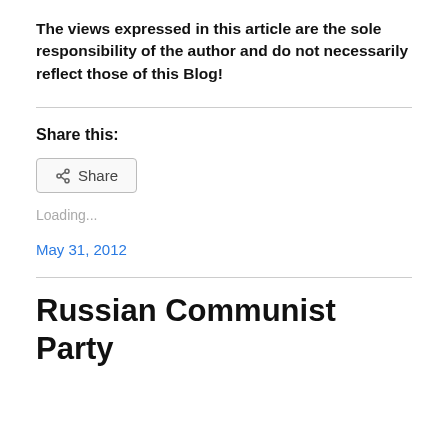The views expressed in this article are the sole responsibility of the author and do not necessarily reflect those of this Blog!
Share this:
[Figure (other): Share button with share icon]
Loading...
May 31, 2012
Russian Communist Party